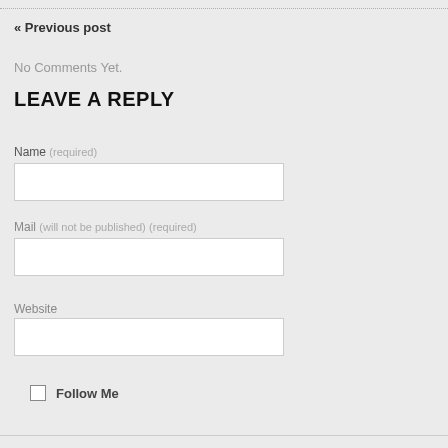« Previous post
No Comments Yet.
LEAVE A REPLY
Name (required)
Mail (will not be published) (required)
Website
Follow Me